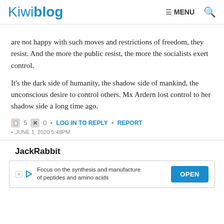Kiwiblog | MENU [search icon]
are not happy with such moves and restrictions of freedom, they resist. And the more the public resist, the more the socialists exert control.
It's the dark side of humanity, the shadow side of mankind, the unconscious desire to control others. Mx Ardern lost control to her shadow side a long time ago.
[upvote] 5 [downvote] 0 • LOG IN TO REPLY • REPORT
• JUNE 1, 2020 5:48PM
JackRabbit
[Figure (other): Advertisement banner: Focus on the synthesis and manufacture of peptides and amino acids. OPEN button.]